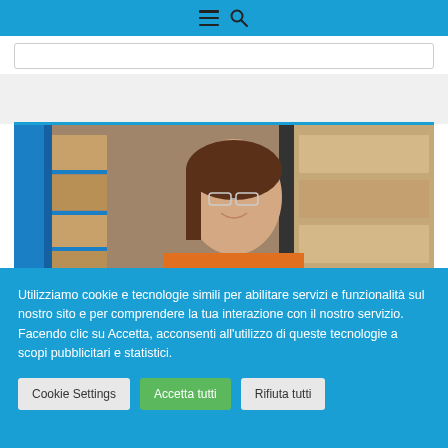Navigation bar with hamburger menu and search icon
[Figure (photo): Smiling young woman wearing safety glasses and orange high-visibility jacket in a warehouse with blue shelving and cardboard boxes in background]
Utilizziamo cookie e tecnologie simili per abilitare servizi e funzionalità sul nostro sito e per comprendere la tua interazione con il nostro servizio. Facendo clic su Accetta, acconsenti all'utilizzo di queste tecnologie a scopi pubblicitari e statistici.
Cookie Settings | Accetta tutti | Rifiuta tutti